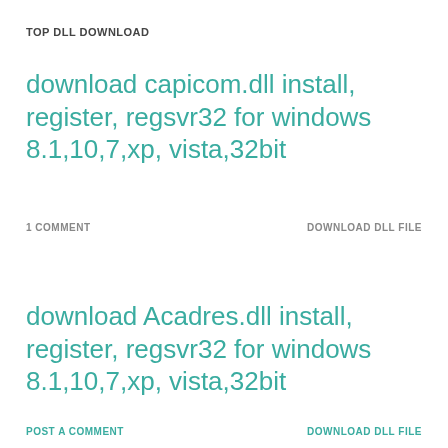TOP DLL DOWNLOAD
download capicom.dll install, register, regsvr32 for windows 8.1,10,7,xp, vista,32bit
1 COMMENT
DOWNLOAD DLL FILE
download Acadres.dll install, register, regsvr32 for windows 8.1,10,7,xp, vista,32bit
POST A COMMENT
DOWNLOAD DLL FILE